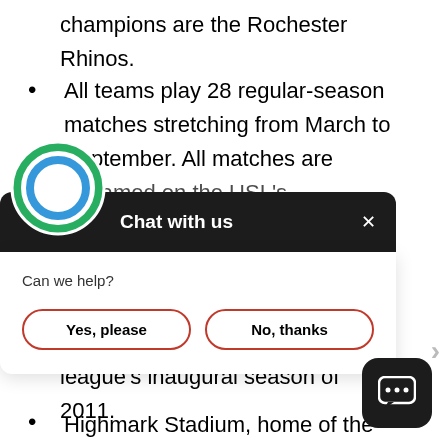champions are the Rochester Rhinos.
All teams play 28 regular-season matches stretching from March to September. All matches are streamed on the USL's
[Figure (screenshot): Chat with us widget overlay showing a circular green/blue logo icon, dark header with 'Chat with us' text and X close button, white body with 'Can we help?' text and two buttons: 'Yes, please' and 'No, thanks']
league's inaugural season of 2011.
Highmark Stadium, home of the